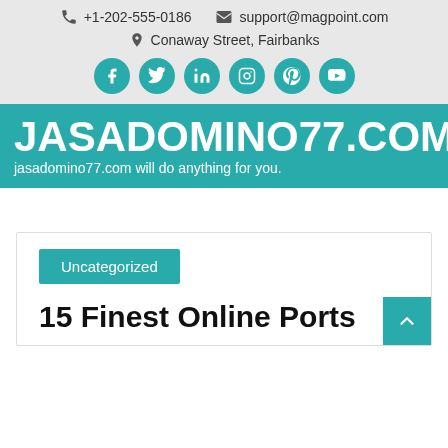+1-202-555-0186  support@magpoint.com  Conaway Street, Fairbanks
JASADOMINO77.COM
jasadomino77.com will do anything for you.
Uncategorized
15 Finest Online Ports